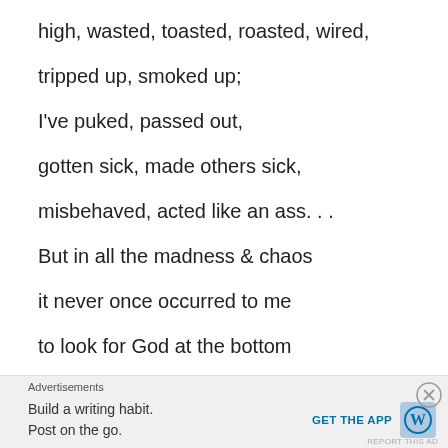high, wasted, toasted, roasted, wired,
tripped up, smoked up;
I've puked, passed out,
gotten sick, made others sick,
misbehaved, acted like an ass. . .
But in all the madness & chaos
it never once occurred to me
to look for God at the bottom
Advertisements
Build a writing habit. Post on the go.
GET THE APP
REPORT THIS AD